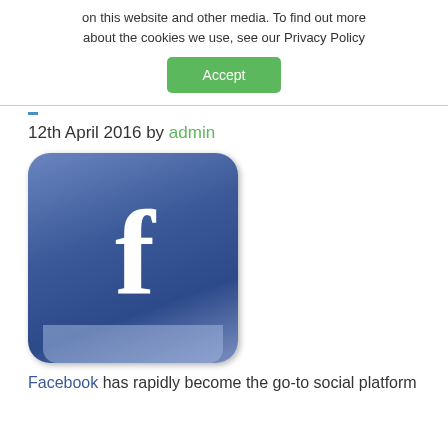on this website and other media. To find out more about the cookies we use, see our Privacy Policy
Accept
12th April 2016 by admin
[Figure (logo): Facebook logo icon — rounded square with gradient blue background and white lowercase f letter]
Facebook has rapidly become the go-to social platform